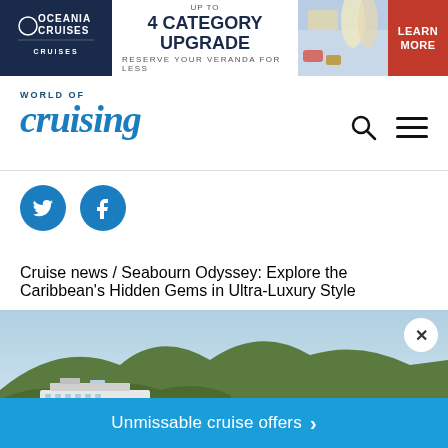[Figure (infographic): Oceania Cruises banner ad: dark navy left panel with Oceania Cruises logo, white middle panel with text 'up to 4 CATEGORY UPGRADE RESERVE YOUR VERANDA FOR LESS', right photo panel with champagne and food, red right panel with LEARN MORE]
[Figure (logo): World of Cruising magazine logo in teal/blue italic serif font with WORLD OF text above]
[Figure (infographic): Twitter bird icon (blue circle) and Facebook f icon (blue circle)]
Cruise news / Seabourn Odyssey: Explore the Caribbean's Hidden Gems in Ultra-Luxury Style
[Figure (photo): Luxury cruise ship (Seabourn Odyssey) in turquoise Caribbean water with lush green hills behind. Overlay shows blue CTA bar 'Unmissable cruise offers' with arrow, and circular close X button top right. Small inset image of tropical beach with drinks.]